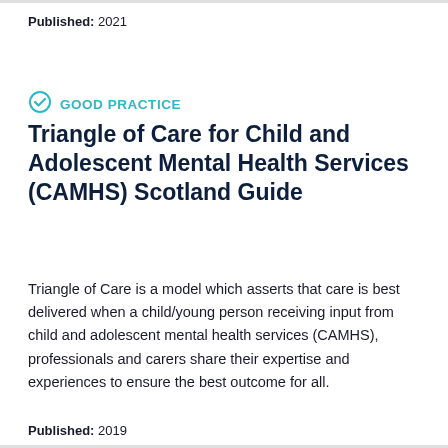Published: 2021
GOOD PRACTICE
Triangle of Care for Child and Adolescent Mental Health Services (CAMHS) Scotland Guide
Triangle of Care is a model which asserts that care is best delivered when a child/young person receiving input from child and adolescent mental health services (CAMHS), professionals and carers share their expertise and experiences to ensure the best outcome for all.
Published: 2019